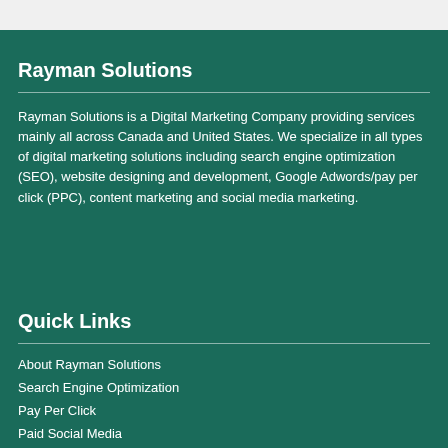Rayman Solutions
Rayman Solutions is a Digital Marketing Company providing services mainly all across Canada and United States. We specialize in all types of digital marketing solutions including search engine optimization (SEO), website designing and development, Google Adwords/pay per click (PPC), content marketing and social media marketing.
Quick Links
About Rayman Solutions
Search Engine Optimization
Pay Per Click
Paid Social Media